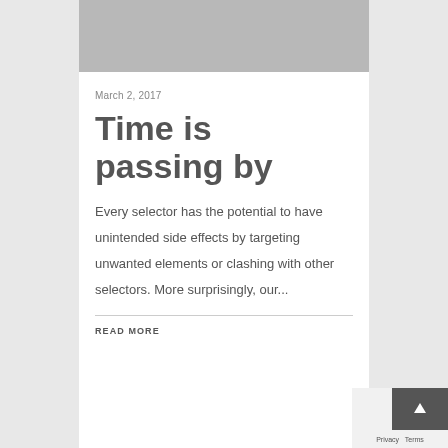[Figure (photo): Gray placeholder image at top of article card]
March 2, 2017
Time is passing by
Every selector has the potential to have unintended side effects by targeting unwanted elements or clashing with other selectors. More surprisingly, our...
READ MORE